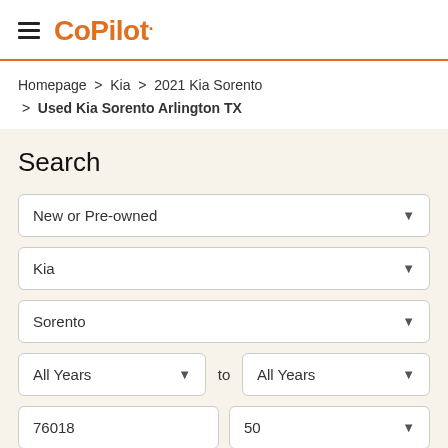CoPilot
Homepage > Kia > 2021 Kia Sorento > Used Kia Sorento Arlington TX
Search
New or Pre-owned
Kia
Sorento
All Years to All Years
76018  50